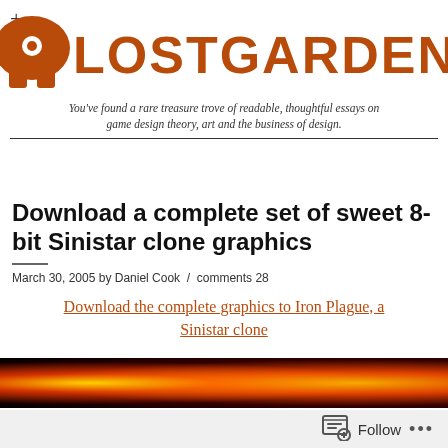[Figure (logo): Lostgarden logo with mushroom/character icon and bold orange text 'LOSTGARDEN']
You've found a rare treasure trove of readable, thoughtful essays on game design theory, art and the business of design.
Download a complete set of sweet 8-bit Sinistar clone graphics
March 30, 2005 by Daniel Cook  /  comments 28
Download the complete graphics to Iron Plague, a Sinistar clone
[Figure (photo): Dark game screenshot with glowing orange and yellow explosion or fire effects on black background]
Follow  ...